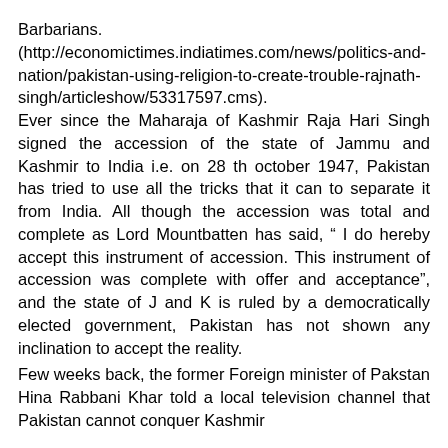Barbarians. (http://economictimes.indiatimes.com/news/politics-and-nation/pakistan-using-religion-to-create-trouble-rajnath-singh/articleshow/53317597.cms). Ever since the Maharaja of Kashmir Raja Hari Singh signed the accession of the state of Jammu and Kashmir to India i.e. on 28 th october 1947, Pakistan has tried to use all the tricks that it can to separate it from India. All though the accession was total and complete as Lord Mountbatten has said, “ I do hereby accept this instrument of accession. This instrument of accession was complete with offer and acceptance”, and the state of J and K is ruled by a democratically elected government, Pakistan has not shown any inclination to accept the reality.
Few weeks back, the former Foreign minister of Pakstan Hina Rabbani Khar told a local television channel that Pakistan cannot conquer Kashmir